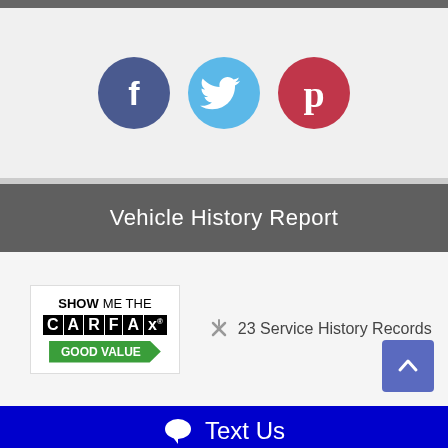[Figure (infographic): Social media share buttons: Facebook (dark blue circle with F icon), Twitter (light blue circle with bird icon), Pinterest (red circle with P icon)]
Vehicle History Report
[Figure (logo): CARFAX 'Show Me The CARFAX Good Value' badge logo]
23 Service History Records
Text Us